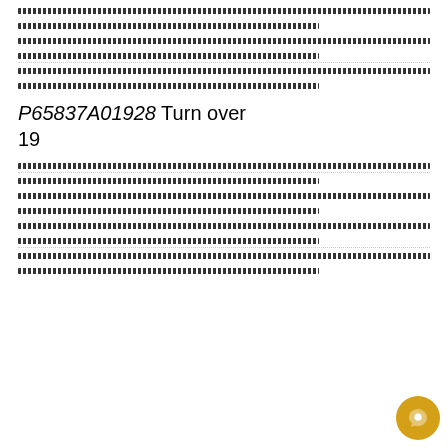████████████████████████████████████████████████████████████████████████████████████
█████████████████████████████████████████████████████████████████
████████████████████████████████████████████████████████████████████████████████████
█████████████████████████████████████████████████████████████████
████████████████████████████████████████████████████████████████████████████████████
█████████████████████████████████████████████████████████████████
P65837A01928 Turn over 19
████████████████████████████████████████████████████████████████████████████████████
█████████████████████████████████████████████████████████████████
████████████████████████████████████████████████████████████████████████████████████
█████████████████████████████████████████████████████████████████
████████████████████████████████████████████████████████████████████████████████████
█████████████████████████████████████████████████████████████████
████████████████████████████████████████████████████████████████████████████████████
█████████████████████████████████████████████████████████████████